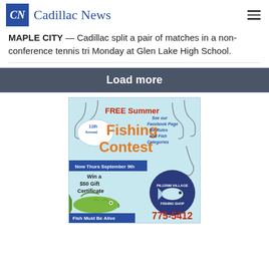Cadillac News
MAPLE CITY — Cadillac split a pair of matches in a non-conference tennis tri Monday at Glen Lake High School.
Load more
[Figure (illustration): Advertisement for FREE Summer 11th Annual Fishing Contest. Now Thurs September 9th. Win a $50 Gift Certificate. Fish Must Be Alive. See our Facebook Page for Rules and Fish Categories. Pilgrim Village Fishing Shop. 775-5412.]